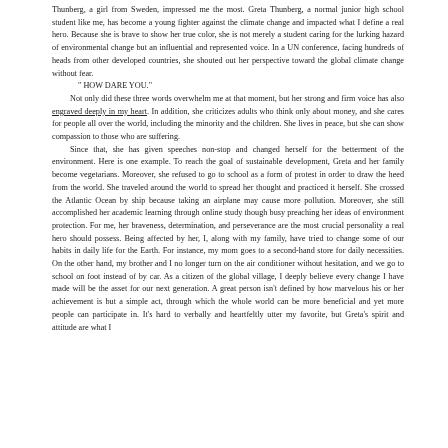Thunberg, a girl from Sweden, impressed me the most. Greta Thunberg, a normal junior high school student like me, has become a young fighter against the climate change and impacted what I define a real hero. Because she is brave to show her true color, she is not merely a student caring for the lurking hazard of environmental change but an influential and represented voice. In a UN conference, facing hundreds of heads from other developed countries, she shouted out her perspective toward the global climate change without fear.
" HOW DARE YOU."
Not only did these three words overwhelm me at that moment, but her strong and firm voice has also engraved deeply in my heart. In addition, she criticizes adults who think only about money, and she cares for people all over the world, including the minority and the children. She lives in peace, but she can show compassion to those who are suffering.
Since that, she has given speeches non-stop and changed herself for the betterment of the environment. Here is one example. To reach the goal of sustainable development, Greta and her family become vegetarians. Moreover, she refused to go to school as a form of protest in order to draw the heed from the world. She traveled around the world to spread her thought and practiced it herself. She crossed the Atlantic Ocean by ship because taking an airplane may cause more pollution. Moreover, she still accomplished her academic learning through online study though busy preaching her ideas of environment protection. For me, her braveness, determination, and perseverance are the most crucial personality a real hero should possess. Being affected by her, I, along with my family, have tried to change some of our habits in daily life for the Earth. For instance, my mom goes to a second-hand store for daily necessities. On the other hand, my brother and I no longer turn on the air conditioner without hesitation, and we go to school on foot instead of by car. As a citizen of the global village, I deeply believe every change I have made will be the asset for our next generation. A great person isn't defined by how marvelous his or her achievement is but a simple act, through which the whole world can be more beneficial and yet more people can participate in. It's hard to verbally and heartfeltly utter my favorite, but Greta's spirit and attitude are what I